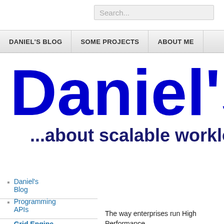Search...
DANIEL'S BLOG | SOME PROJECTS | ABOUT ME
Daniel's
...about scalable worklo
Daniel's Blog
Programming APIs
Grid Engine
The way enterprises run High Performance